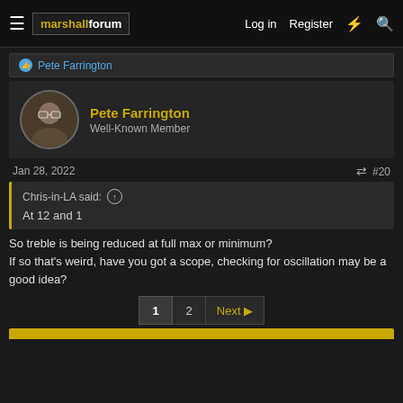marshallforum | Log in | Register
Pete Farrington
Pete Farrington
Well-Known Member
Jan 28, 2022   #20
Chris-in-LA said: ↑
At 12 and 1
So treble is being reduced at full max or minimum?
If so that's weird, have you got a scope, checking for oscillation may be a good idea?
1  2  Next ▶